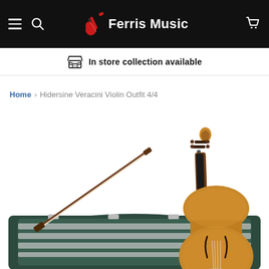Ferris Music — In store collection available
Home › Hidersine Veracini Violin Outfit 4/4
[Figure (photo): Product photo of Hidersine Veracini Violin Outfit 4/4, showing a violin with bow resting on an open dark green hard case with silver latches, on a white background.]